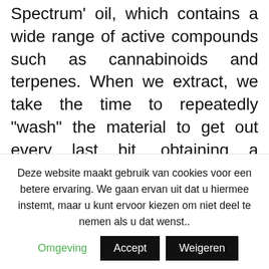Spectrum' oil, which contains a wide range of active compounds such as cannabinoids and terpenes. When we extract, we take the time to repeatedly "wash" the material to get out every last bit, obtaining a concentrate with almost the exact same composition as is found in the original plant.
[Figure (photo): Two CBD product boxes (orange/red packaging labeled CBD, Calisia 6%, Spain) shown side by side in bordered frames, partially cropped at the bottom of the image area.]
Deze website maakt gebruik van cookies voor een betere ervaring. We gaan ervan uit dat u hiermee instemt, maar u kunt ervoor kiezen om niet deel te nemen als u dat wenst..  Omgeving   Accept   Weigeren